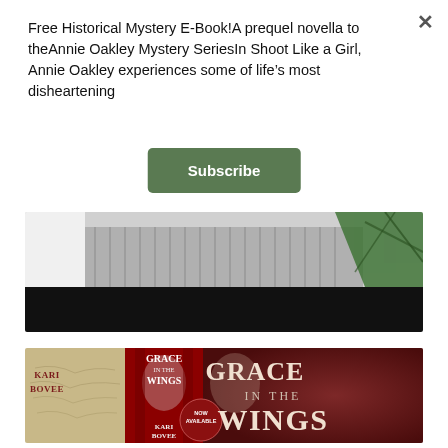Free Historical Mystery E-Book!A prequel novella to theAnnie Oakley Mystery SeriesIn Shoot Like a Girl, Annie Oakley experiences some of life’s most disheartening
Subscribe
[Figure (photo): Partial photo of a person wearing a gray striped shirt with green plants visible in background, and a black bar at the bottom]
[Figure (illustration): Book banner advertisement for 'Grace in the Wings' by Kari Bovee showing book cover and title text on dark red background with a 'Now Available' badge]